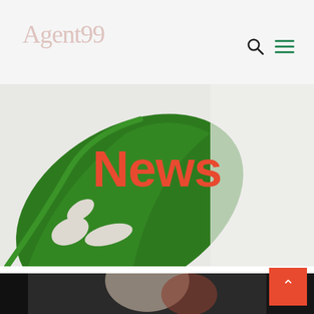Agent99
News
[Figure (photo): Monstera leaf on white background, hero banner for News page]
[Figure (photo): Partial view of a person or object at the bottom of the page, cropped]